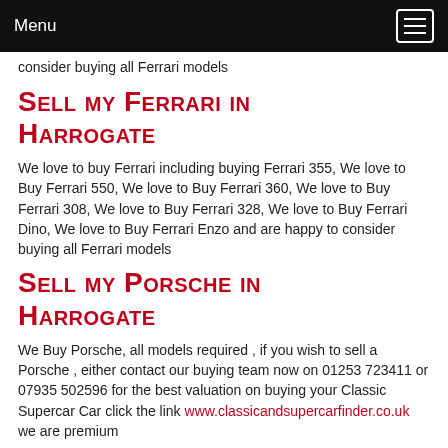Menu
consider buying all Ferrari models
Sell my Ferrari in Harrogate
We love to buy Ferrari including buying Ferrari 355, We love to Buy Ferrari 550, We love to Buy Ferrari 360, We love to Buy Ferrari 308, We love to Buy Ferrari 328, We love to Buy Ferrari Dino, We love to Buy Ferrari Enzo and are happy to consider buying all Ferrari models
Sell my Porsche in Harrogate
We Buy Porsche, all models required , if you wish to sell a Porsche , either contact our buying team now on 01253 723411 or 07935 502596 for the best valuation on buying your Classic Supercar Car click the link www.classicandsupercarfinder.co.uk we are premium